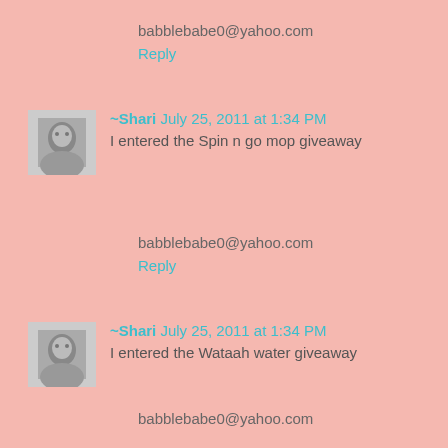babblebabe0@yahoo.com
Reply
[Figure (photo): Small grayscale avatar photo of a person]
~Shari  July 25, 2011 at 1:34 PM
I entered the Spin n go mop giveaway
babblebabe0@yahoo.com
Reply
[Figure (photo): Small grayscale avatar photo of a person]
~Shari  July 25, 2011 at 1:34 PM
I entered the Wataah water giveaway
babblebabe0@yahoo.com